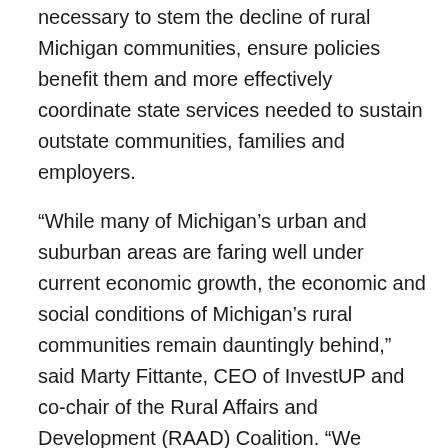necessary to stem the decline of rural Michigan communities, ensure policies benefit them and more effectively coordinate state services needed to sustain outstate communities, families and employers.
“While many of Michigan’s urban and suburban areas are faring well under current economic growth, the economic and social conditions of Michigan’s rural communities remain dauntingly behind,” said Marty Fittante, CEO of InvestUP and co-chair of the Rural Affairs and Development (RAAD) Coalition. “We believe the Governor has an opportunity to ensure the policies of her administration benefit families in every corner of the state and lead the nation in putting the needs of rural dwellers – more than 20 percent of Michiganders living in 59 of 83 Michigan counties – on relative par with their metropolitan counterparts.”